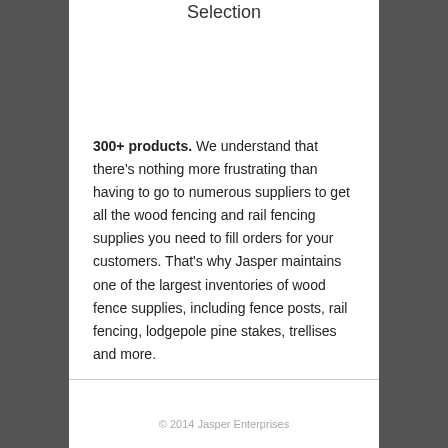Selection
300+ products. We understand that there's nothing more frustrating than having to go to numerous suppliers to get all the wood fencing and rail fencing supplies you need to fill orders for your customers. That's why Jasper maintains one of the largest inventories of wood fence supplies, including fence posts, rail fencing, lodgepole pine stakes, trellises and more.
© 2014 Jasper Enterprises